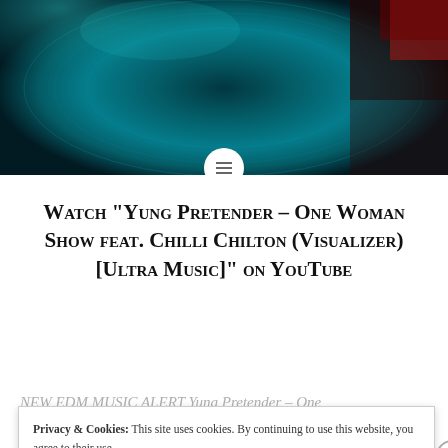[Figure (photo): Teal/turquoise vinyl record with dramatic lighting from above, dark background with teal highlights]
Watch “Yung Pretender – One Woman Show feat. Chilli Chilton (Visualizer) [Ultra Music]” on YouTube
NEW EDM MUSIC ALERT Yung Pretender – One
Privacy & Cookies: This site uses cookies. By continuing to use this website, you agree to their use.
To find out more, including how to control cookies, see here: Cookie Policy
Close and accept